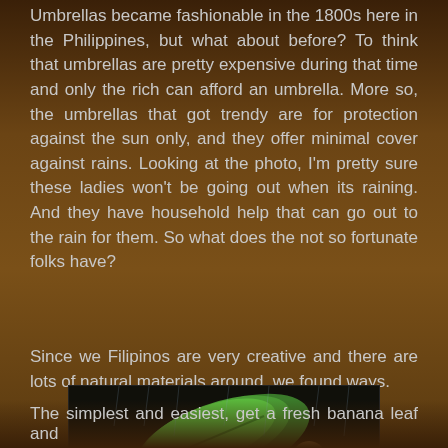Umbrellas became fashionable in the 1800s here in the Philippines, but what about before? To think that umbrellas are pretty expensive during that time and only the rich can afford an umbrella. More so, the umbrellas that got trendy are for protection against the sun only, and they offer minimal cover against rains. Looking at the photo, I'm pretty sure these ladies won't be going out when its raining. And they have household help that can go out to the rain for them. So what does the not so fortunate folks have?
Since we Filipinos are very creative and there are lots of natural materials around, we found ways.
[Figure (photo): A scene showing people in the rain, one holding a large green banana leaf overhead as shelter, with another person on stairs in the background.]
The simplest and easiest, get a fresh banana leaf and